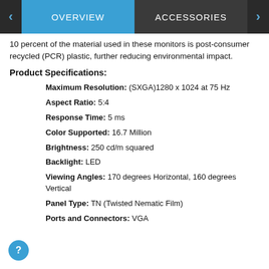OVERVIEW | ACCESSORIES
10 percent of the material used in these monitors is post-consumer recycled (PCR) plastic, further reducing environmental impact.
Product Specifications:
Maximum Resolution: (SXGA)1280 x 1024 at 75 Hz
Aspect Ratio: 5:4
Response Time: 5 ms
Color Supported: 16.7 Million
Brightness: 250 cd/m squared
Backlight: LED
Viewing Angles: 170 degrees Horizontal, 160 degrees Vertical
Panel Type: TN (Twisted Nematic Film)
Ports and Connectors: VGA